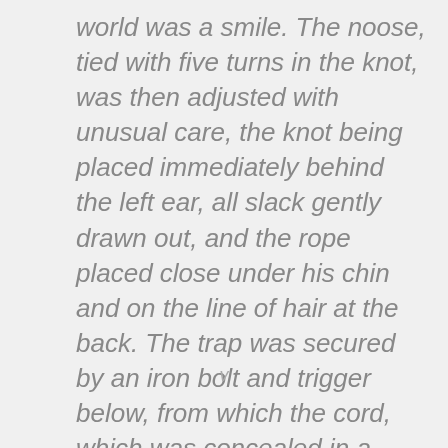world was a smile. The noose, tied with five turns in the knot, was then adjusted with unusual care, the knot being placed immediately behind the left ear, all slack gently drawn out, and the rope placed close under his chin and on the line of hair at the back. The trap was secured by an iron bolt and trigger below, from which the cord, which was concealed in a
v